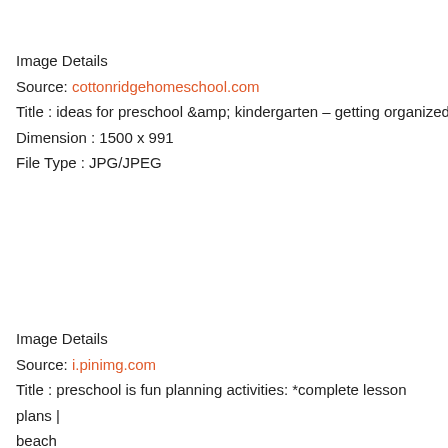Image Details
Source: cottonridgehomeschool.com
Title : ideas for preschool &amp;amp; kindergarten – getting organized
Dimension : 1500 x 991
File Type : JPG/JPEG
Image Details
Source: i.pinimg.com
Title : preschool is fun planning activities: *complete lesson plans | beach
Dimension : 1224 x 1584
File Type : JPG/JPEG